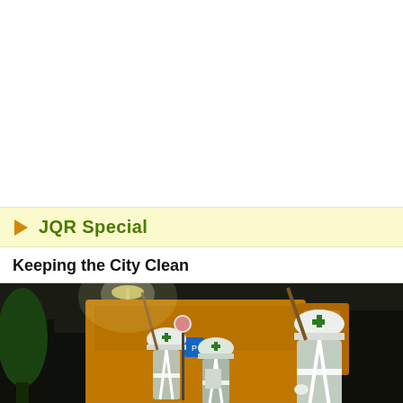JQR Special
Keeping the City Clean
[Figure (photo): Three city sanitation workers in white hard hats with green cross emblems and reflective vest uniforms, holding long-handled tools, standing in front of a yellow municipal truck at night on a city street]